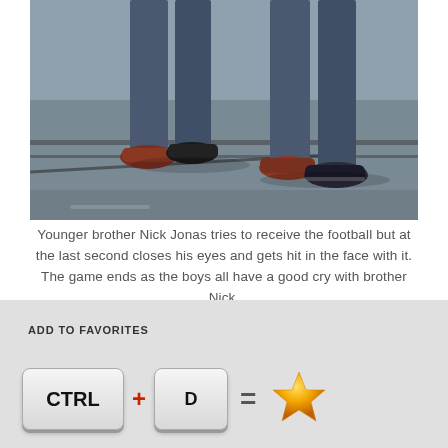[Figure (photo): Legs and feet of two people walking or playing football on a paved surface, wearing jeans and sneakers/shoes]
Younger brother Nick Jonas tries to receive the football but at the last second closes his eyes and gets hit in the face with it. The game ends as the boys all have a good cry with brother Nick.
ADD TO FAVORITES
[Figure (infographic): Keyboard shortcut infographic: CTRL + D = star (Add to Favorites)]